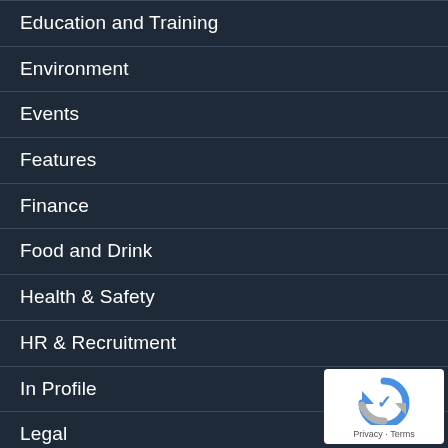Education and Training
Environment
Events
Features
Finance
Food and Drink
Health & Safety
HR & Recruitment
In Profile
Legal
Marketing
News